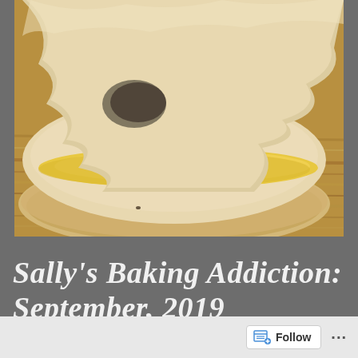[Figure (photo): Close-up photograph of a sliced bread roll or bun showing cheesy/eggy filling inside, placed on a wooden cutting board surface]
Sally's Baking Addiction: September, 2019 Challenge: